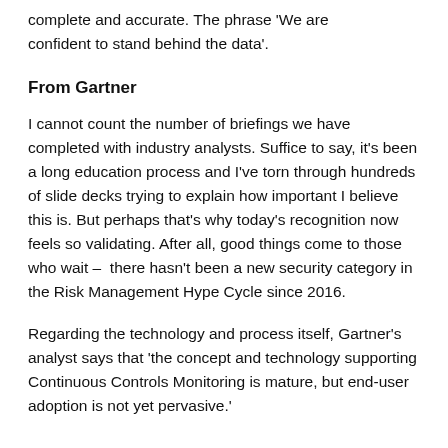complete and accurate. The phrase 'We are confident to stand behind the data'.
From Gartner
I cannot count the number of briefings we have completed with industry analysts. Suffice to say, it's been a long education process and I've torn through hundreds of slide decks trying to explain how important I believe this is. But perhaps that's why today's recognition now feels so validating. After all, good things come to those who wait –  there hasn't been a new security category in the Risk Management Hype Cycle since 2016.
Regarding the technology and process itself, Gartner's analyst says that 'the concept and technology supporting Continuous Controls Monitoring is mature, but end-user adoption is not yet pervasive.'